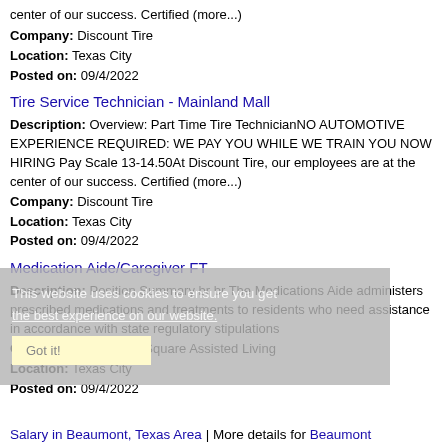center of our success. Certified (more...)
Company: Discount Tire
Location: Texas City
Posted on: 09/4/2022
Tire Service Technician - Mainland Mall
Description: Overview: Part Time Tire TechnicianNO AUTOMOTIVE EXPERIENCE REQUIRED: WE PAY YOU WHILE WE TRAIN YOU NOW HIRING Pay Scale 13-14.50At Discount Tire, our employees are at the center of our success. Certified (more...)
Company: Discount Tire
Location: Texas City
Posted on: 09/4/2022
Medication Aide/Caregiver FT
Description: Position Summary br br The Medications Aide administers prescribed medications and treatments to residents who need assistance in accordance with state regulatory stipulations
Company: Cambridge Square Assisted Living
Location: Texas City
Posted on: 09/4/2022
This website uses cookies to ensure you get the best experience on our website.
Got it!
Salary in Beaumont, Texas Area | More details for Beaumont